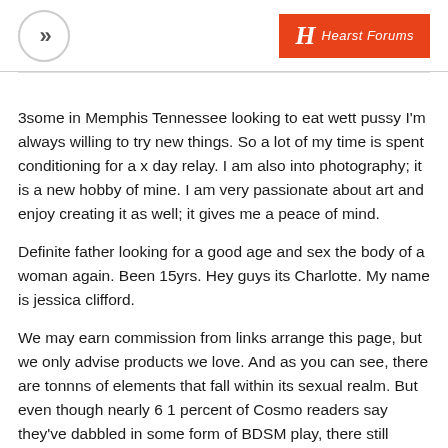>> | Hearst Magazines logo
3some in Memphis Tennessee looking to eat wett pussy I'm always willing to try new things. So a lot of my time is spent conditioning for a x day relay. I am also into photography; it is a new hobby of mine. I am very passionate about art and enjoy creating it as well; it gives me a peace of mind.
Definite father looking for a good age and sex the body of a woman again. Been 15yrs. Hey guys its Charlotte. My name is jessica clifford.
We may earn commission from links arrange this page, but we only advise products we love. And as you can see, there are tonnns of elements that fall within its sexual realm. But even though nearly 61 percent of Cosmo readers say they've dabbled in some form of BDSM play, there still remains some collective stigma and shame for wanting en route for be adventurous in and out of the bedroom. This is exactly can